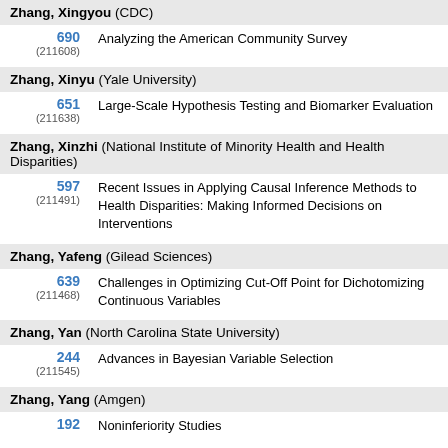Zhang, Xingyou (CDC)
690 (211608) Analyzing the American Community Survey
Zhang, Xinyu (Yale University)
651 (211638) Large-Scale Hypothesis Testing and Biomarker Evaluation
Zhang, Xinzhi (National Institute of Minority Health and Health Disparities)
597 (211491) Recent Issues in Applying Causal Inference Methods to Health Disparities: Making Informed Decisions on Interventions
Zhang, Yafeng (Gilead Sciences)
639 (211468) Challenges in Optimizing Cut-Off Point for Dichotomizing Continuous Variables
Zhang, Yan (North Carolina State University)
244 (211545) Advances in Bayesian Variable Selection
Zhang, Yang (Amgen)
192 Noninferiority Studies